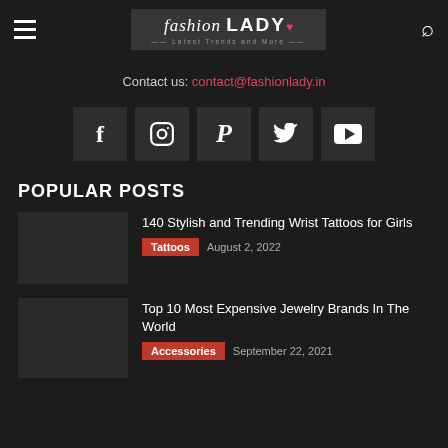fashion LADY — Latest Trends and More
Contact us: contact@fashionlady.in
[Figure (infographic): Row of 5 social media icons: Facebook, Instagram, Pinterest, Twitter, YouTube on dark background squares]
POPULAR POSTS
140 Stylish and Trending Wrist Tattoos for Girls — Tattoos — August 2, 2022
Top 10 Most Expensive Jewelry Brands In The World — Accessories — September 22, 2021